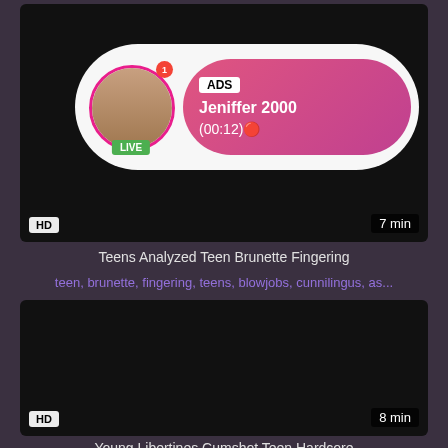[Figure (screenshot): Video thumbnail - dark/black background with HD badge and 7 min duration, overlaid with advertisement popup showing avatar with LIVE badge, ADS label, name Jeniffer 2000 and timestamp (00:12)]
Teens Analyzed Teen Brunette Fingering
teen, brunette, fingering, teens, blowjobs, cunnilingus, as...
[Figure (screenshot): Second video thumbnail - dark/black background with HD badge and 8 min duration]
Young Libertines Cumshot Teen Hardcore